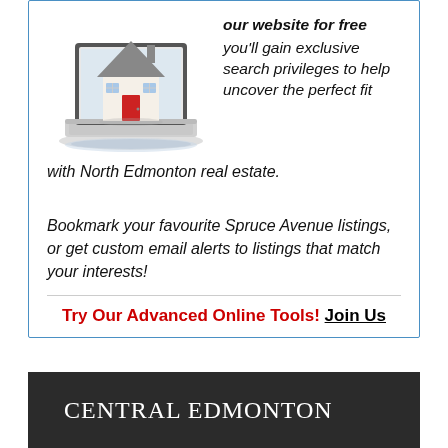[Figure (illustration): A 3D rendered image of a small house model placed on top of an open laptop computer, suggesting online real estate search.]
our website for free you'll gain exclusive search privileges to help uncover the perfect fit with North Edmonton real estate.
Bookmark your favourite Spruce Avenue listings, or get custom email alerts to listings that match your interests!
Try Our Advanced Online Tools! Join Us
CENTRAL EDMONTON